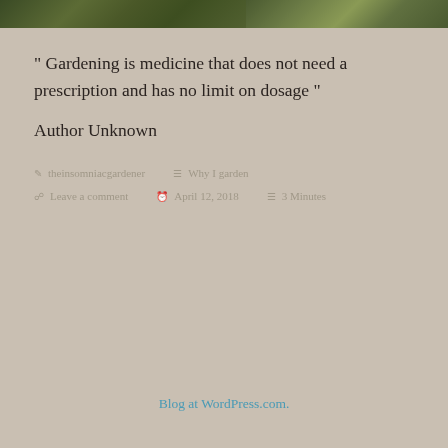[Figure (photo): Two garden photos side by side: left shows dark green foliage, right shows purple/lavender flowering plants]
" Gardening is medicine that does not need a prescription and has no limit on dosage "
Author Unknown
theinsomniacgardener   Why I garden   Leave a comment   April 12, 2018   3 Minutes
Blog at WordPress.com.